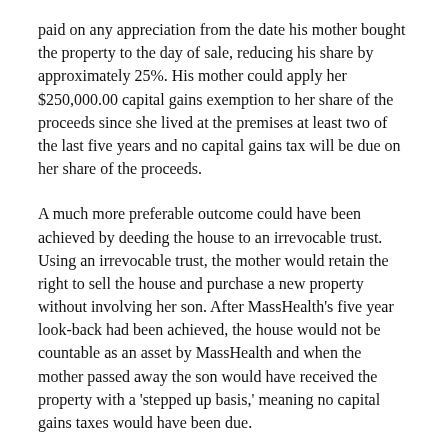paid on any appreciation from the date his mother bought the property to the day of sale, reducing his share by approximately 25%. His mother could apply her $250,000.00 capital gains exemption to her share of the proceeds since she lived at the premises at least two of the last five years and no capital gains tax will be due on her share of the proceeds.
A much more preferable outcome could have been achieved by deeding the house to an irrevocable trust. Using an irrevocable trust, the mother would retain the right to sell the house and purchase a new property without involving her son. After MassHealth's five year look-back had been achieved, the house would not be countable as an asset by MassHealth and when the mother passed away the son would have received the property with a 'stepped up basis,' meaning no capital gains taxes would have been due.